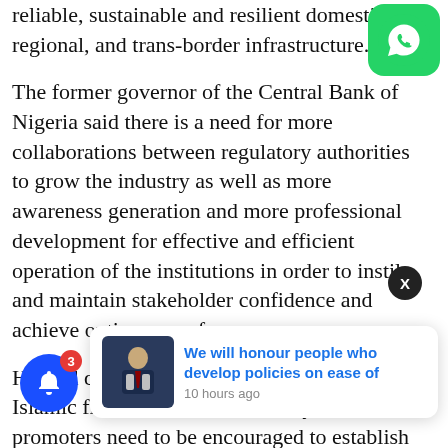reliable, sustainable and resilient domestic, regional, and trans-border infrastructure.
[Figure (logo): WhatsApp green rounded square icon with white phone handset]
The former governor of the Central Bank of Nigeria said there is a need for more collaborations between regulatory authorities to grow the industry as well as more awareness generation and more professional development for effective and efficient operation of the institutions in order to instil and maintain stakeholder confidence and achieve optimum performance.
He said despite the potential for growth of the Islamic financial services industry in Africa, promoters need to be encouraged to establish more Islamic financial institutions so as to create the needed critical mass... institutions need to come together and support each other for advocacy and growth of the industry.
[Figure (screenshot): Notification popup with photo of a man in suit and text: 'We will honour people who develop policies on ease of' — 10 hours ago]